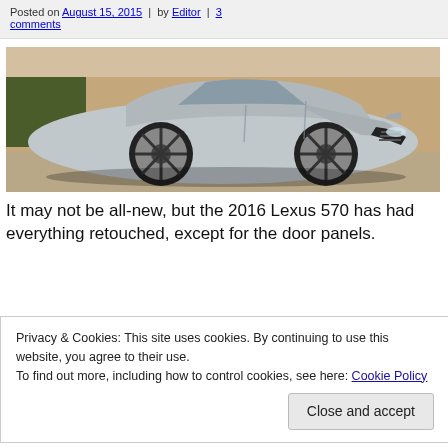Posted on August 15, 2015 | by Editor | 3 comments
[Figure (photo): Silver Lexus LX 570 SUV parked in front of a building with palm trees, side-front view]
It may not be all-new, but the 2016 Lexus 570 has had everything retouched, except for the door panels.
Privacy & Cookies: This site uses cookies. By continuing to use this website, you agree to their use.
To find out more, including how to control cookies, see here: Cookie Policy
horsepower and delivers 90-percent of its 403 lb.-ft.